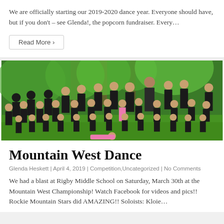We are officially starting our 2019-2020 dance year. Everyone should have, but if you don't – see Glenda!, the popcorn fundraiser. Every…
Read More ›
[Figure (photo): Group photo of dance students in black t-shirts and jeans posing outdoors on green grass with trees in background]
Mountain West Dance
Glenda Heskett | April 4, 2019 | Competition,Uncategorized | No Comments
We had a blast at Rigby Middle School on Saturday, March 30th at the Mountain West Championship! Watch Facebook for videos and pics!! Rockie Mountain Stars did AMAZING!! Soloists: Kloie…